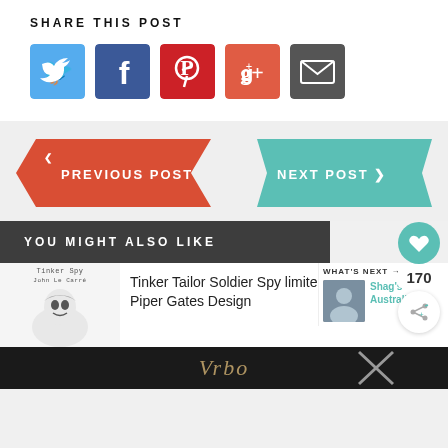SHARE THIS POST
[Figure (infographic): Social share buttons: Twitter (blue bird), Facebook (blue f), Pinterest (red P), Google+ (red g+), Email (dark envelope)]
[Figure (infographic): Navigation buttons: red left-arrow PREVIOUS POST banner and teal right-arrow NEXT POST banner]
[Figure (infographic): Side widget with heart icon (170 likes) and share icon]
YOU MIGHT ALSO LIKE
[Figure (illustration): Book thumbnail - Tinker Tailor Soldier Spy illustration with matryoshka doll face, John Le Carré author]
Tinker Tailor Soldier Spy limited edition print by Piper Gates Design
[Figure (infographic): WHAT'S NEXT panel with Shag's Australian... text and thumbnail image]
[Figure (photo): Vrbo advertisement banner at bottom]